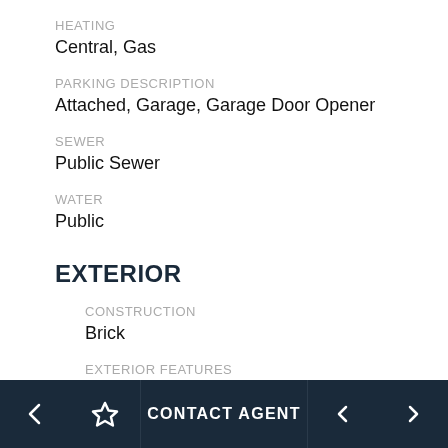HEATING
Central, Gas
PARKING DESCRIPTION
Attached, Garage, Garage Door Opener
SEWER
Public Sewer
WATER
Public
EXTERIOR
CONSTRUCTION
Brick
EXTERIOR FEATURES
← ☆ CONTACT AGENT ◄ ►